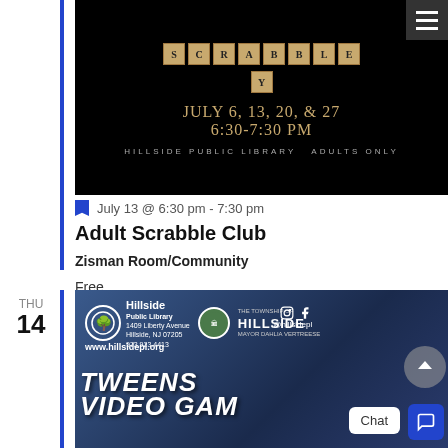[Figure (photo): Scrabble Club promotional image on black background showing Scrabble tiles spelling SCRABBLE and Y, with text JULY 6, 13, 20, & 27 / 6:30-7:30 PM / HILLSIDE PUBLIC LIBRARY ADULTS ONLY]
July 13 @ 6:30 pm - 7:30 pm
Adult Scrabble Club
Zisman Room/Community
Free
THU 14
[Figure (photo): Tweens Video Game event promotional image for Hillside Public Library showing logos, www.hillsidepl.org, and large text TWEENS VIDEO GAME with a game controller, also showing Chat button overlay]